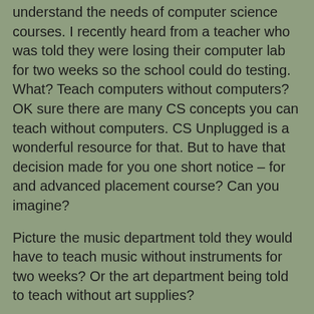understand the needs of computer science courses. I recently heard from a teacher who was told they were losing their computer lab for two weeks so the school could do testing. What? Teach computers without computers? OK sure there are many CS concepts you can teach without computers. CS Unplugged is a wonderful resource for that. But to have that decision made for you one short notice – for and advanced placement course? Can you imagine?
Picture the music department told they would have to teach music without instruments for two weeks? Or the art department being told to teach without art supplies?
It's hard to get too upset with the principal here though. They are in a hard spot and need the computers to do the standardized testing that people who know nothing about education insist that they administer. On the other hand since it is unlikely that these tests come as a surprise to the principal they should at least let the teacher know long enough in advance so that they can properly plan. But they don't understand what it is like teaching computer science. How could they if they never even took computer science as a student?